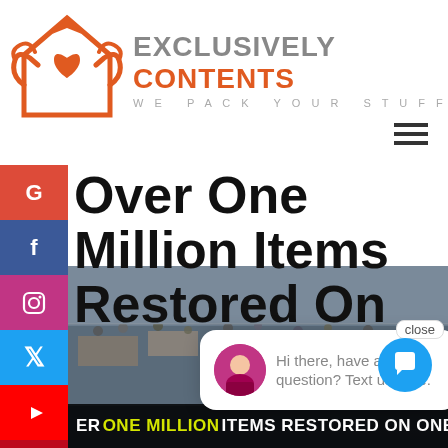[Figure (logo): Exclusively Contents logo - house icon with hands in orange, text 'EXCLUSIVELY CONTENTS WE PACK YOUR STUFF']
Over One Million Items Restored On One Loss
[Figure (photo): Overhead view of a large crowded mall or convention center with many people and items on tables, with text banner at bottom reading 'ER ONE MILLION ITEMS RESTORED ON ONE LOSS']
Hi there, have a question? Text us here.